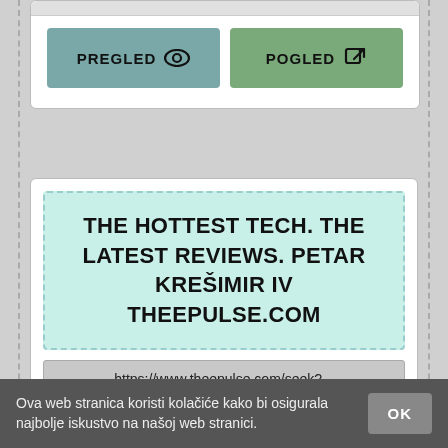[Figure (screenshot): Two buttons: PREGLED (teal) with eye icon and POGLED (green) with external link icon, inside a white card]
[Figure (screenshot): Web result card showing: title 'THE HOTTEST TECH. THE LATEST REVIEWS. PETAR KREŠIMIR IV THEEPULSE.COM', URL 'https://www.theepulse.com/seek?...', and description text 'Decode the latest tech products, news and reviews. Search here and keep up with what matters in tech.']
Ova web stranica koristi kolačiće kako bi osigurala najbolje iskustvo na našoj web stranici.